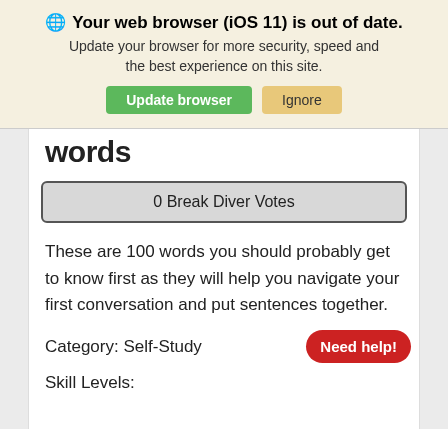🌐 Your web browser (iOS 11) is out of date. Update your browser for more security, speed and the best experience on this site.
Update browser | Ignore
words
0 Break Diver Votes
These are 100 words you should probably get to know first as they will help you navigate your first conversation and put sentences together.
Category: Self-Study
Skill Levels:
Need help!